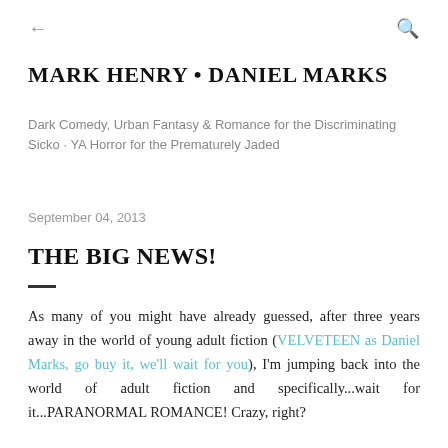← (back) Q (search)
MARK HENRY • DANIEL MARKS
Dark Comedy, Urban Fantasy & Romance for the Discriminating Sicko · YA Horror for the Prematurely Jaded
September 04, 2013
THE BIG NEWS!
As many of you might have already guessed, after three years away in the world of young adult fiction (VELVETEEN as Daniel Marks, go buy it, we'll wait for you), I'm jumping back into the world of adult fiction and specifically...wait for it...PARANORMAL ROMANCE! Crazy, right?